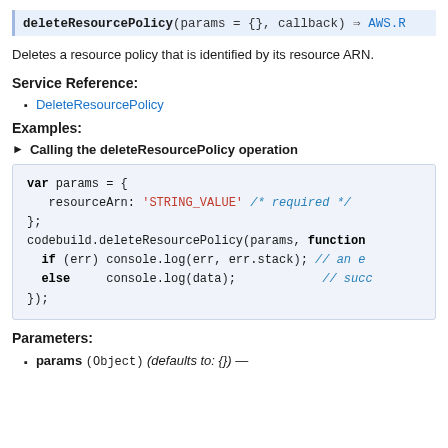deleteResourcePolicy(params = {}, callback) => AWS.R...
Deletes a resource policy that is identified by its resource ARN.
Service Reference:
DeleteResourcePolicy
Examples:
► Calling the deleteResourcePolicy operation
[Figure (screenshot): Code block showing JavaScript example: var params = { resourceArn: 'STRING_VALUE' /* required */ }; codebuild.deleteResourcePolicy(params, function if (err) console.log(err, err.stack); // an e else console.log(data); // succ });]
Parameters:
params (Object) (defaults to: {}) —